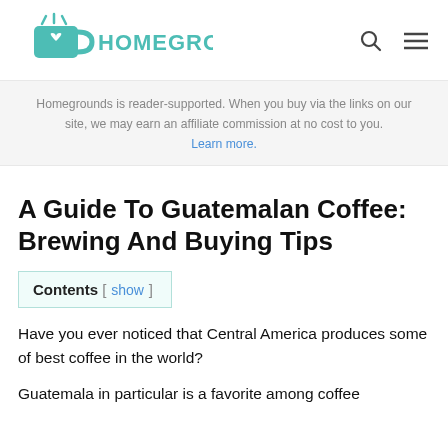HOMEGROUNDS
Homegrounds is reader-supported. When you buy via the links on our site, we may earn an affiliate commission at no cost to you. Learn more.
A Guide To Guatemalan Coffee: Brewing And Buying Tips
Contents [ show ]
Have you ever noticed that Central America produces some of best coffee in the world?
Guatemala in particular is a favorite among coffee